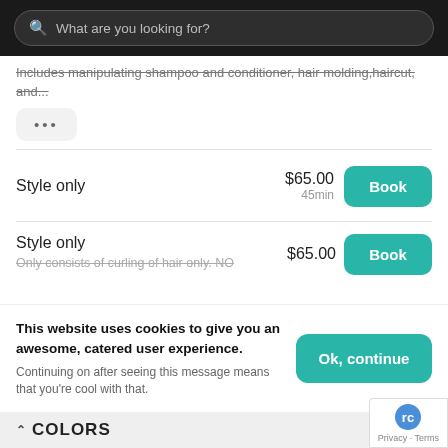[Figure (screenshot): Search bar with magnifying glass icon and placeholder text 'What are you looking for?' on dark background]
Includes manipulating shampoo and conditioner, hair molding, haircut, and...
...
Style only
$65.00
45min
Style only
Only consists of curling of hair only. NO
$65.00
This website uses cookies to give you an awesome, catered user experience.
Continuing on after seeing this message means that you're cool with that.
^ COLORS
[Figure (logo): reCAPTCHA logo badge with Privacy · Terms links]